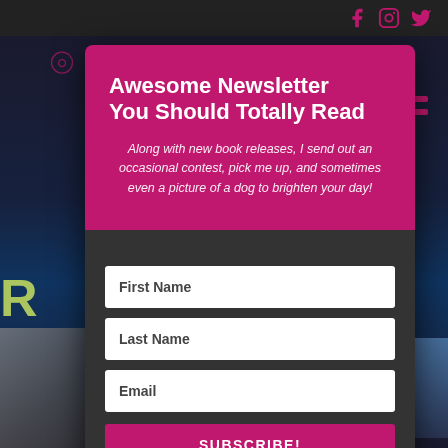[Figure (screenshot): Website screenshot background showing dark themed page with social media icons (Facebook, Instagram, Twitter) in top right, hamburger menu in pink/red, yellow-green partial text at bottom, and dark blue/black background]
Awesome Newsletter You Should Totally Read
Along with new book releases, I send out an occasional contest, pick me up, and sometimes even a picture of a dog to brighten your day!
First Name
Last Name
Email
SUBSCRIBE!